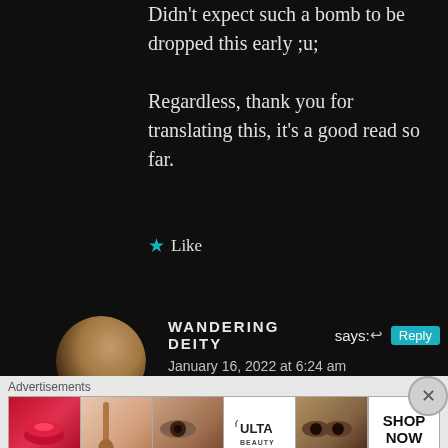Didn't expect such a bomb to be dropped this early ;u;

Regardless, thank you for translating this, it's a good read so far.
★ Like
WANDERING DEITY says: January 16, 2022 at 6:24 am
[Figure (photo): Circular avatar photo of a woman's face against dark background]
Advertisements
[Figure (photo): Ulta beauty advertisement strip showing makeup images and SHOP NOW text]